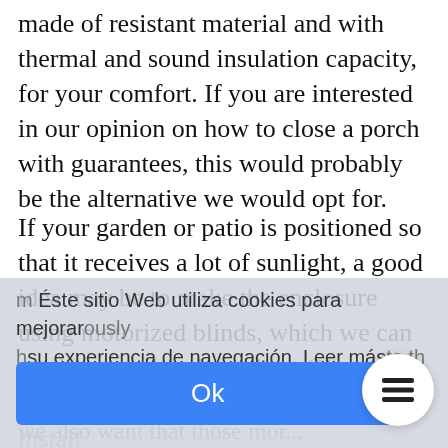made of resistant material and with thermal and sound insulation capacity, for your comfort. If you are interested in our opinion on how to close a porch with guarantees, this would probably be the alternative we would opt for.
If your garden or patio is positioned so that it receives a lot of sunlight, a good idea may be to make the enclosure using motorized blinds, which we can easily control and regulate. Of course, you must keep in mind that in order to install m... ously / h... te th...
Éste sitio Web utiliza cookies para mejorar su experiencia de navegación. Leer más
Ok
we also want that those mor...
When we think about how to close a por...